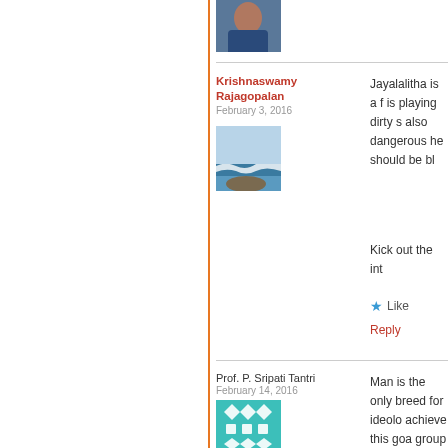[Figure (photo): Partial avatar photo of a person wearing a dark blue shirt, cropped at top]
Krishnaswamy Rajagopalan
February 3, 2016
[Figure (photo): Photo of ocean waves crashing on rocky shore]
Jayalalitha is a f... is playing dirty g... also dangerous... he should be bl...
Kick out the int...
Like
Reply
Prof. P. Sripati Tantri
February 14, 2016
[Figure (illustration): Teal/turquoise geometric diamond and square pattern avatar]
Man is the only... breed for ideolo... achieve this goa... group that is al... opportunity, to... Rahul put his w... in the JNU cam...